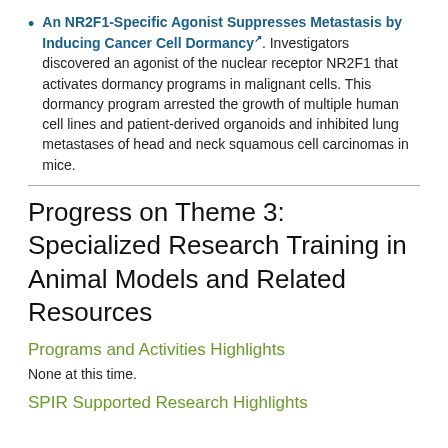An NR2F1-Specific Agonist Suppresses Metastasis by Inducing Cancer Cell Dormancy. Investigators discovered an agonist of the nuclear receptor NR2F1 that activates dormancy programs in malignant cells. This dormancy program arrested the growth of multiple human cell lines and patient-derived organoids and inhibited lung metastases of head and neck squamous cell carcinomas in mice.
Progress on Theme 3: Specialized Research Training in Animal Models and Related Resources
Programs and Activities Highlights
None at this time.
SPIR Supported Research Highlights